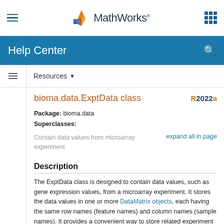MathWorks Help Center
bioma.data.ExptData class
Package: bioma.data
Superclasses:
Contain data values from microarray experiment
Description
The ExptData class is designed to contain data values, such as gene expression values, from a microarray experiment. It stores the data values in one or more DataMatrix objects, each having the same row names (feature names) and column names (sample names). It provides a convenient way to store related experiment data in a single data structure (object). It also lets you